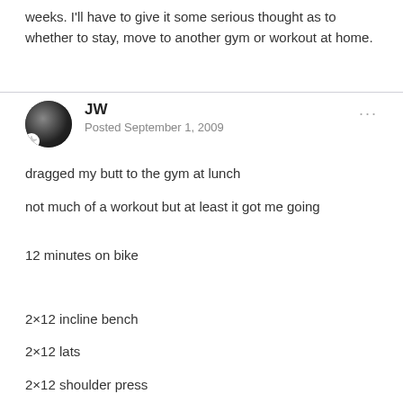weeks. I'll have to give it some serious thought as to whether to stay, move to another gym or workout at home.
JW
Posted September 1, 2009
dragged my butt to the gym at lunch
not much of a workout but at least it got me going
12 minutes on bike
2×12 incline bench
2×12 lats
2×12 shoulder press
2×12 rows